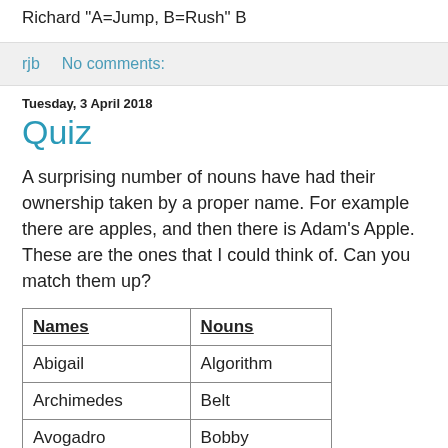Richard "A=Jump, B=Rush" B
rjb   No comments:
Tuesday, 3 April 2018
Quiz
A surprising number of nouns have had their ownership taken by a proper name. For example there are apples, and then there is Adam's Apple. These are the ones that I could think of. Can you match them up?
| Names | Nouns |
| --- | --- |
| Abigail | Algorithm |
| Archimedes | Belt |
| Avogadro | Bobby |